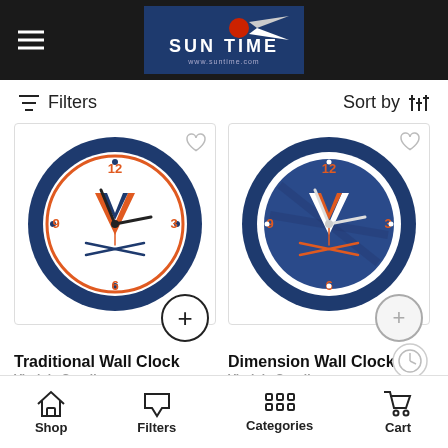Sun Time — www.suntime.com
Filters
Sort by
[Figure (photo): Virginia Cavaliers Traditional Wall Clock — navy blue clock with white face, orange V logo and crossed sabres, orange ring, orange numerals 12/3/6/9]
Traditional Wall Clock
Virginia Cavaliers
$33.00
[Figure (photo): Virginia Cavaliers Dimension Wall Clock — navy blue clock with dark blue textured face, white/orange V logo and crossed sabres, orange numerals 12/3/6/9]
Dimension Wall Clock
Virginia Cavaliers
$33.00
Shop  Filters  Categories  Cart